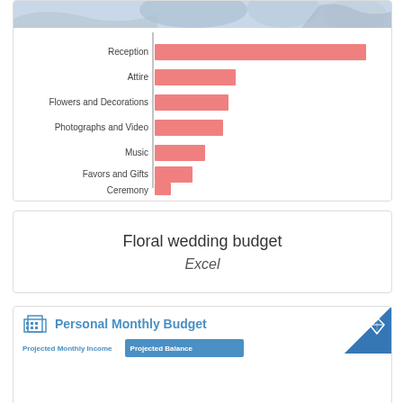[Figure (photo): Photo strip showing hands/wedding scene at top of card]
[Figure (bar-chart): Wedding budget categories]
Floral wedding budget
Excel
[Figure (screenshot): Personal Monthly Budget Excel template card with blue header, diamond corner icon, projected monthly income label, and projected balance bar]